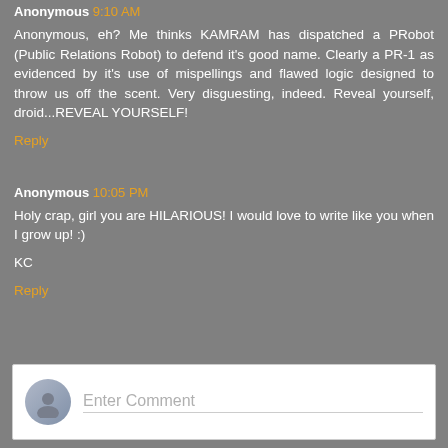Anonymous 9:10 AM
Anonymous, eh? Me thinks KAMRAM has dispatched a PRobot (Public Relations Robot) to defend it's good name. Clearly a PR-1 as evidenced by it's use of mispellings and flawed logic designed to throw us off the scent. Very disguesting, indeed. Reveal yourself, droid...REVEAL YOURSELF!
Reply
Anonymous 10:05 PM
Holy crap, girl you are HILARIOUS! I would love to write like you when I grow up! :)
KC
Reply
Enter Comment